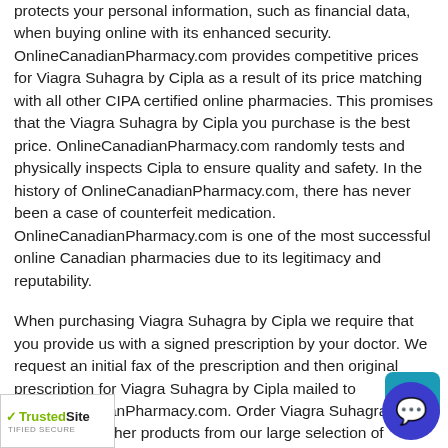protects your personal information, such as financial data, when buying online with its enhanced security. OnlineCanadianPharmacy.com provides competitive prices for Viagra Suhagra by Cipla as a result of its price matching with all other CIPA certified online pharmacies. This promises that the Viagra Suhagra by Cipla you purchase is the best price. OnlineCanadianPharmacy.com randomly tests and physically inspects Cipla to ensure quality and safety. In the history of OnlineCanadianPharmacy.com, there has never been a case of counterfeit medication. OnlineCanadianPharmacy.com is one of the most successful online Canadian pharmacies due to its legitimacy and reputability.
When purchasing Viagra Suhagra by Cipla we require that you provide us with a signed prescription by your doctor. We request an initial fax of the prescription and then original prescription for Viagra Suhagra by Cipla mailed to OnlineCanadianPharmacy.com. Order Viagra Suhagra by Cipla or any other produ... m our large selection of medication online 24 hrs a day, 7 days a week. For your convenience
[Figure (logo): TrustedSite CERTIFIED SECURE badge at bottom left]
[Figure (illustration): Live chat bubble icon at bottom right with teal square background and dark blue circle with speech bubble icon]